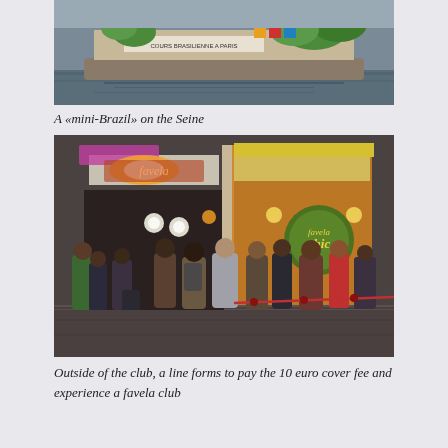[Figure (photo): A decorated boat on the Seine river, painted with tropical/Brazilian imagery and text 'COURS BRASILIENNE A PARIS']
A «mini-Brazil» on the Seine
[Figure (photo): Outside of a nightclub called 'Favela Chic', a crowd of people lines up on the street. The club has illuminated signage with orange and pink lighting.]
Outside of the club, a line forms to pay the 10 euro cover fee and experience a favela club